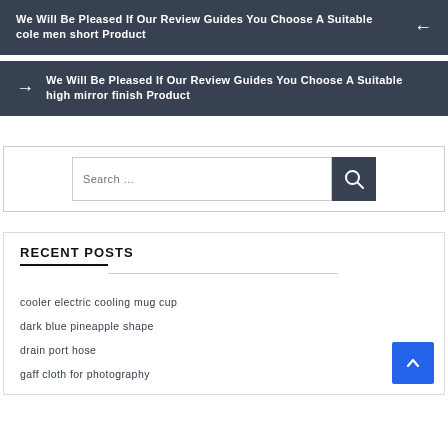We Will Be Pleased If Our Review Guides You Choose A Suitable cole men short Product
We Will Be Pleased If Our Review Guides You Choose A Suitable high mirror finish Product
RECENT POSTS
cooler electric cooling mug cup
dark blue pineapple shape
drain port hose
gaff cloth for photography